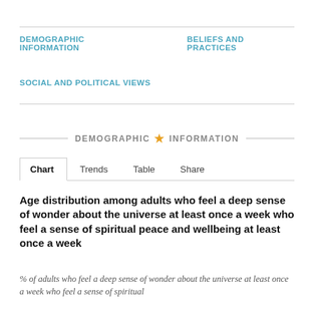DEMOGRAPHIC INFORMATION   BELIEFS AND PRACTICES
SOCIAL AND POLITICAL VIEWS
DEMOGRAPHIC ★ INFORMATION
Chart   Trends   Table   Share
Age distribution among adults who feel a deep sense of wonder about the universe at least once a week who feel a sense of spiritual peace and wellbeing at least once a week
% of adults who feel a deep sense of wonder about the universe at least once a week who feel a sense of spiritual